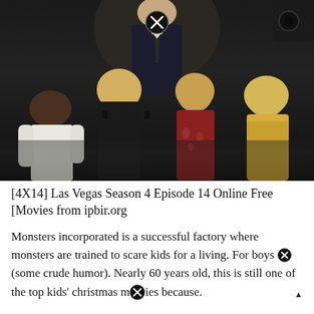[Figure (photo): A TV show cast promotional photo showing several people against a dark background. A close button (X in circle) is overlaid at the top center of the image. The cast includes a man in a suit at the top center, a Black man in a white t-shirt on the left, and three blonde women in formal/evening wear.]
[4X14] Las Vegas Season 4 Episode 14 Online Free [Movies from ipbir.org
Monsters incorporated is a successful factory where monsters are trained to scare kids for a living. For boys (some crude humor). Nearly 60 years old, this is still one of the top kids' christmas movies because.